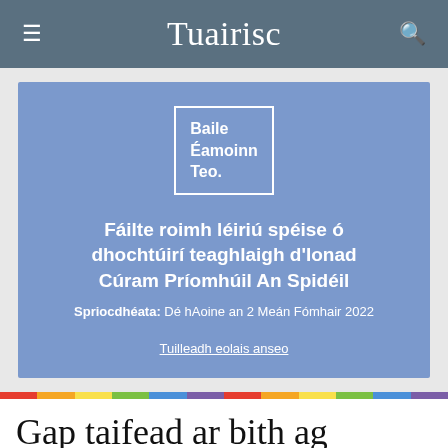Tuairisc
[Figure (infographic): Blue advertisement card for Baile Éamoinn Teo. announcing: Fáilte roimh léiriú spéise ó dhochtúirí teaghlaigh d'Ionad Cúram Príomhúil An Spidéil. Spriocdhéata: Dé hAoine an 2 Meán Fómhair 2022. Tuilleadh eolais anseo.]
Gap taifead ar bith ag